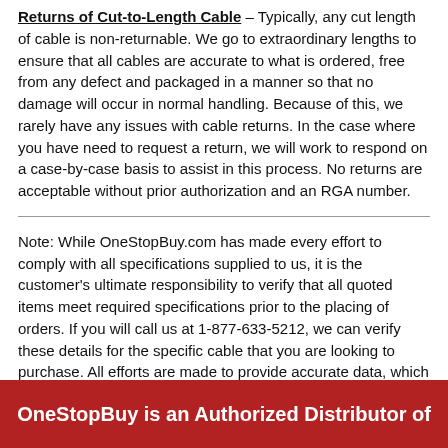Returns of Cut-to-Length Cable – Typically, any cut length of cable is non-returnable. We go to extraordinary lengths to ensure that all cables are accurate to what is ordered, free from any defect and packaged in a manner so that no damage will occur in normal handling. Because of this, we rarely have any issues with cable returns. In the case where you have need to request a return, we will work to respond on a case-by-case basis to assist in this process. No returns are acceptable without prior authorization and an RGA number.
Note: While OneStopBuy.com has made every effort to comply with all specifications supplied to us, it is the customer's ultimate responsibility to verify that all quoted items meet required specifications prior to the placing of orders. If you will call us at 1-877-633-5212, we can verify these details for the specific cable that you are looking to purchase. All efforts are made to provide accurate data, which is supplied by the manufacturers themselves. The data shown on this page is approximate and is subject to standard industry and manufacturer tolerances.
OneStopBuy is an Authorized Distributor of